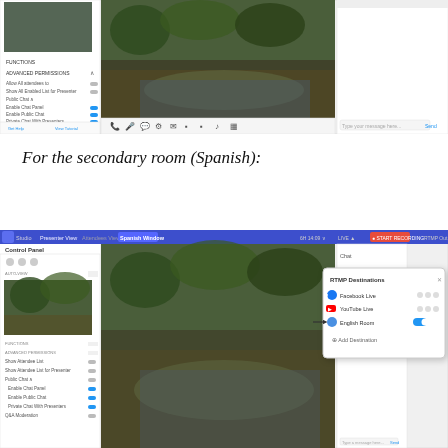[Figure (screenshot): Webinar platform interface showing presenter view with control panel on left (FUNCTIONS, ADVANCED PERMISSIONS settings), main video area showing forest/river nature scene in center, and chat panel on right. Navigation icons at bottom of video area.]
For the secondary room (Spanish):
[Figure (screenshot): Webinar platform interface for Spanish Window secondary room showing presenter view with control panel on left (FUNCTIONS, ADVANCED PERMISSIONS, Show Attendee List, Show Attendee List for Presenter, Public Chat settings), main video area showing forest/river nature scene, chat panel on right, and RTMP Destinations popup showing Facebook Live, YouTube Live, English Room (enabled with blue toggle), and Add Destination options.]